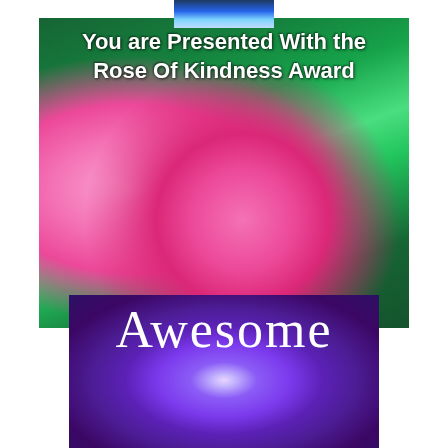[Figure (photo): Small bird/nature image at the top center of the page]
[Figure (photo): Pink roses in bloom against green leafy background with text overlay reading 'You are Presented With the Rose Of Kindness Award']
[Figure (photo): Close-up of a deep purple flower (delphinium) with white center stamens, with the word 'Awesome' overlaid in white serif text at the top]